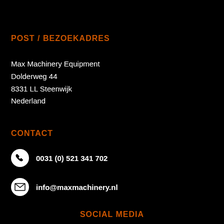POST / BEZOEKADRES
Max Machinery Equipment
Dolderweg 44
8331 LL Steenwijk
Nederland
CONTACT
0031 (0) 521 341 702
info@maxmachinery.nl
SOCIAL MEDIA